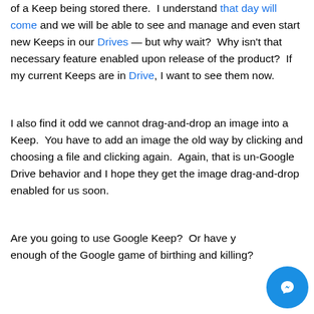of a Keep being stored there.  I understand that day will come and we will be able to see and manage and even start new Keeps in our Drives — but why wait?  Why isn't that necessary feature enabled upon release of the product?  If my current Keeps are in Drive, I want to see them now.

I also find it odd we cannot drag-and-drop an image into a Keep.  You have to add an image the old way by clicking and choosing a file and clicking again.  Again, that is un-Google Drive behavior and I hope they get the image drag-and-drop enabled for us soon.

Are you going to use Google Keep?  Or have you had enough of the Google game of birthing and killing?
[Figure (other): Facebook Messenger chat button (circular blue icon with messenger lightning bolt logo)]